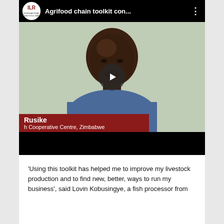[Figure (screenshot): A YouTube-style video thumbnail showing a man in a blue shirt with a play button overlay. The video title bar reads 'Agrifood chain toolkit con...' with an ILR (International Livestock Research) logo. A dark red caption bar at the bottom of the video reads 'Rusike' and 'h Cooperative Centre, Zimbabwe'. The video has a black bottom bar.]
'Using this toolkit has helped me to improve my livestock production and to find new, better, ways to run my business', said Lovin Kobusingye, a fish processor from